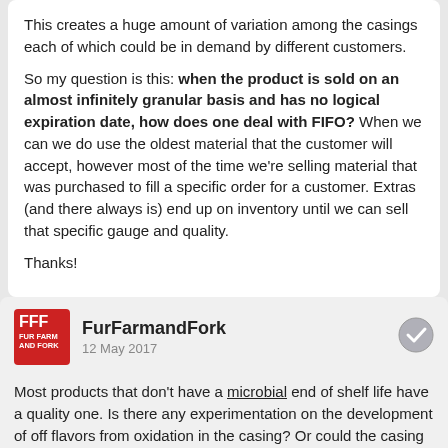This creates a huge amount of variation among the casings each of which could be in demand by different customers.

So my question is this: when the product is sold on an almost infinitely granular basis and has no logical expiration date, how does one deal with FIFO?  When we can we do use the oldest material that the customer will accept, however most of the time we're selling material that was purchased to fill a specific order for a customer.  Extras (and there always is) end up on inventory until we can sell that specific gauge and quality.

Thanks!
FurFarmandFork
12 May 2017
Most products that don't have a microbial end of shelf life have a quality one. Is there any experimentation on the development of off flavors from oxidation in the casing? Or could the casing become more brittle over time?

The other determination of end of shelf life will be based on the integrity of your packaging. If you're using plastic there's a general shelf life for stress fractures that could be used as a standard, that